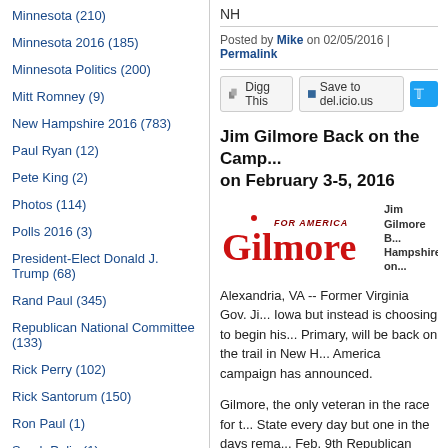Minnesota (210)
Minnesota 2016 (185)
Minnesota Politics (200)
Mitt Romney (9)
New Hampshire 2016 (783)
Paul Ryan (12)
Pete King (2)
Photos (114)
Polls 2016 (3)
President-Elect Donald J. Trump (68)
Rand Paul (345)
Republican National Committee (133)
Rick Perry (102)
Rick Santorum (150)
Ron Paul (1)
Sarah Palin (1)
Scott Walker (186)
Ted Cruz (657)
NH
Posted by Mike on 02/05/2016 | Permalink
Jim Gilmore Back on the Camp... on February 3-5, 2016
[Figure (logo): Gilmore For America campaign logo in red serif font]
Alexandria, VA -- Former Virginia Gov. Ji... Iowa but instead is choosing to begin his... Primary, will be back on the trail in New H... America campaign has announced.
Gilmore, the only veteran in the race for t... State every day but one in the days rema... Feb. 9th Republican Presidential Primary,... New Hampshire," said Gilmore.
Gilmore's schedule for the next three day...